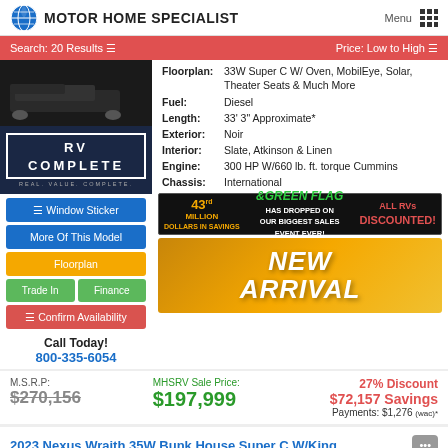MOTOR HOME SPECIALIST
Search: 20 Results   Price: Low to High
[Figure (screenshot): Dark vehicle/RV image partially visible]
[Figure (logo): RV COMPLETE badge logo on dark blue background]
Window Sticker
More Of This Model
Floorplan
Trade In   Finance
Confirm Availability
Call Today!
800-335-6054
| Field | Value |
| --- | --- |
| Floorplan: | 33W Super C W/ Oven, MobilEye, Solar, Theater Seats & Much More |
| Fuel: | Diesel |
| Length: | 33' 3" Approximate* |
| Exterior: | Noir |
| Interior: | Slate, Atkinson & Linen |
| Engine: | 300 HP W/660 lb. ft. torque Cummins |
| Chassis: | International |
[Figure (infographic): Green Flag - 43 Million Dollars in Savings, HAS DROPPED ON OUR BIGGEST SALES EVENT EVER! ALL RVs DISCOUNTED!]
[Figure (infographic): NEW ARRIVAL banner on orange/yellow background]
M.S.R.P:
$270,156
MHSRV Sale Price:
$197,999
27% Discount
$72,157 Savings
Payments: $1,276 (wac)*
2023 Nexus Wraith 35W Bunk House Super C W/King